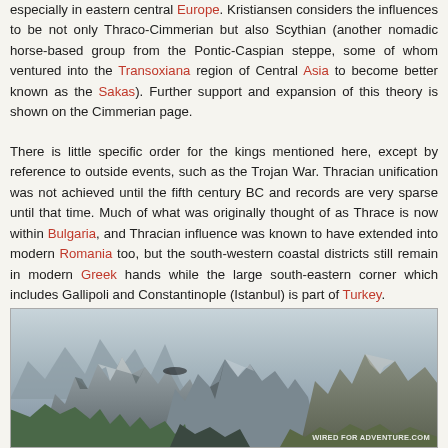especially in eastern central Europe. Kristiansen considers the influences to be not only Thraco-Cimmerian but also Scythian (another nomadic horse-based group from the Pontic-Caspian steppe, some of whom ventured into the Transoxiana region of Central Asia to become better known as the Sakas). Further support and expansion of this theory is shown on the Cimmerian page.
There is little specific order for the kings mentioned here, except by reference to outside events, such as the Trojan War. Thracian unification was not achieved until the fifth century BC and records are very sparse until that time. Much of what was originally thought of as Thrace is now within Bulgaria, and Thracian influence was known to have extended into modern Romania too, but the south-western coastal districts still remain in modern Greek hands while the large south-eastern corner which includes Gallipoli and Constantinople (Istanbul) is part of Turkey.
[Figure (photo): Mountain landscape photograph showing rugged rocky peaks with snow/glacial features, green vegetation in foreground, watermark 'WIRED FOR ADVENTURE.COM' in lower right corner]